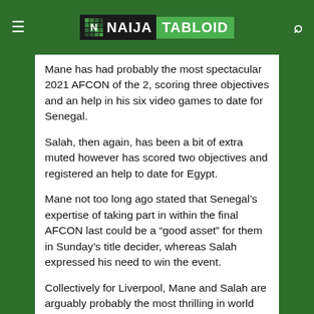NAIJA TABLOID
Mane has had probably the most spectacular 2021 AFCON of the 2, scoring three objectives and an help in his six video games to date for Senegal.
Salah, then again, has been a bit of extra muted however has scored two objectives and registered an help to date for Egypt.
Mane not too long ago stated that Senegal’s expertise of taking part in within the final AFCON last could be a “good asset” for them in Sunday’s title decider, whereas Salah expressed his need to win the event.
Collectively for Liverpool, Mane and Salah are arguably probably the most thrilling in world soccer.
On this event, they have permitted his competition t...